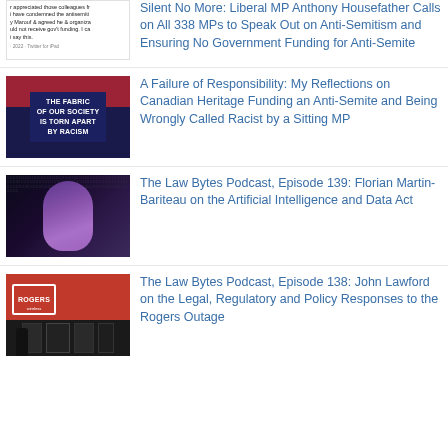Silent No More: Liberal MP Anthony Housefather Calls on All 338 MPs to Speak Out on Anti-Semitism and Ensuring No Government Funding for Anti-Semite
A Failure of Responsibility: My Reflections on Canadian Heritage Funding an Anti-Semite and Being Wrongly Called Racist by a Sitting MP
The Law Bytes Podcast, Episode 139: Florian Martin-Bariteau on the Artificial Intelligence and Data Act
The Law Bytes Podcast, Episode 138: John Lawford on the Legal, Regulatory and Policy Responses to the Rogers Outage